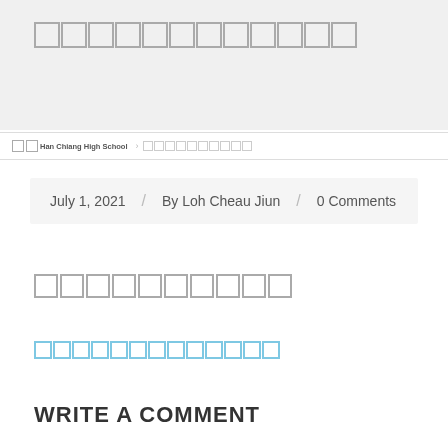（Chinese characters — title in CJK script）
漢 Han Chiang High School > （CJK breadcrumb）
July 1, 2021 / By Loh Cheau Jiun / 0 Comments
（CJK section heading）
（CJK link text）
WRITE A COMMENT